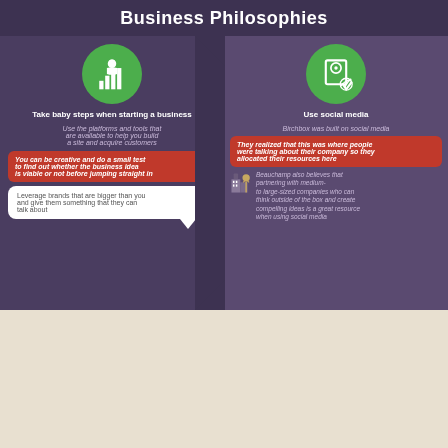Business Philosophies
Take baby steps when starting a business
Use the platforms and tools that are available to help you build a site and acquire customers
You can be creative and do a small test to find out whether the business idea is viable or not before jumping straight in
Leverage brands that are bigger than you and give them something that they can talk about
Use social media
Birchbox was built on social media
They realized that this was where people were talking about their company so they allocated their resources here
Beauchamp also believes that partnering with medium- to large-sized companies who can think outside of the box and create compelling ideas is a great resource when using social media
Andy Dunn - @dunn™™
Age: 37
Co-founder and CEO of Bonobos
Net Worth - Information not available
An online apparel company that's based an fit, fun and service